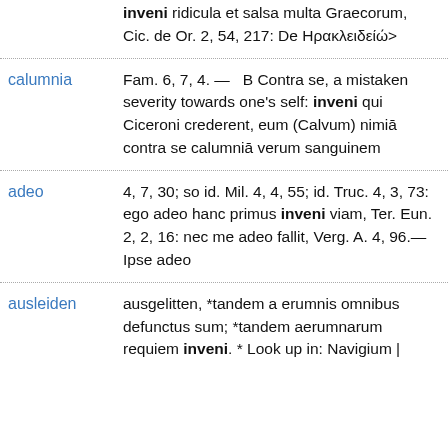inveni ridicula et salsa multa Graecorum, Cic. de Or. 2, 54, 217: De Ηρακλειδείώ>
calumnia — Fam. 6, 7, 4. — B Contra se, a mistaken severity towards one's self: inveni qui Ciceroni crederent, eum (Calvum) nimiā contra se calumniā verum sanguinem
adeo — 4, 7, 30; so id. Mil. 4, 4, 55; id. Truc. 4, 3, 73: ego adeo hanc primus inveni viam, Ter. Eun. 2, 2, 16: nec me adeo fallit, Verg. A. 4, 96.—Ipse adeo
ausleiden — ausgelitten, *tandem a erumnis omnibus defunctus sum; *tandem aerumnarum requiem inveni. * Look up in: Navigium |